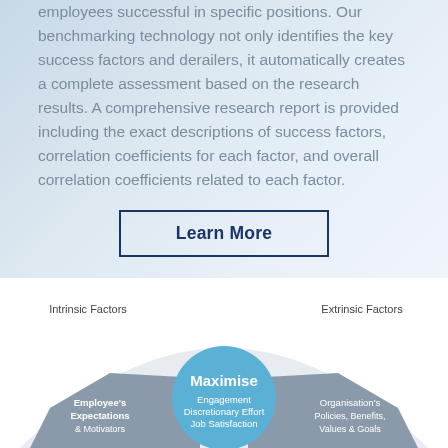employees successful in specific positions. Our benchmarking technology not only identifies the key success factors and derailers, it automatically creates a complete assessment based on the research results. A comprehensive research report is provided including the exact descriptions of success factors, correlation coefficients for each factor, and overall correlation coefficients related to each factor.
[Figure (infographic): A 'Learn More' call-to-action button with dark navy border on a light blue gradient background]
[Figure (infographic): Circular diagram showing 'Maximise' in the center blue circle with 'Engagement', 'Discretionary Effort', 'Job Satisfaction' text. Left side shows 'Intrinsic Factors' and 'Employee's Expectations & Motivators' in a grey wedge. Right side shows 'Extrinsic Factors' and 'Organisation's Policies, Benefits, Values & Goals' in a grey wedge. A larger outer grey arc wraps around both sides.]